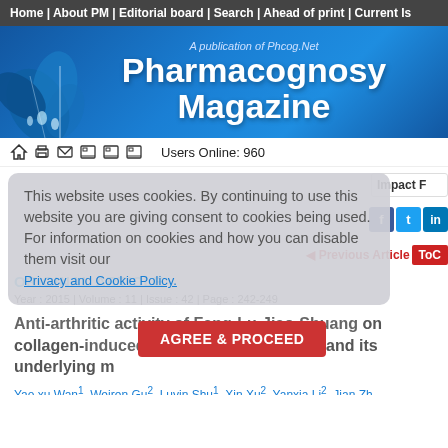Home | About PM | Editorial board | Search | Ahead of print | Current Is
[Figure (illustration): Pharmacognosy Magazine banner with blue floral illustration on left and text 'A publication of Phcog.Net / Pharmacognosy Magazine' in white on blue gradient background]
Users Online: 960
This website uses cookies. By continuing to use this website you are giving consent to cookies being used. For information on cookies and how you can disable them visit our Privacy and Cookie Policy.
Impact F
Previous Article   ToC
ORIGINAL ARTICLE
Year : 2015 | Volume : 11 | Issue : 42 | Page : 242-249
AGREE & PROCEED
Anti-arthritic activity of Fang-Lu-Jiao-Shuang on collagen-induced arthritis in Balb/c mice and its underlying m
Yao xu Wan 1, Weiren Gu 2, Luyin Shu 1, Xin Xu 2, Yanxia Li 2, Jian Zh